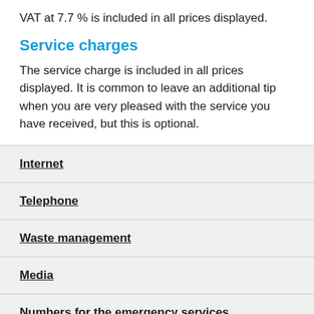VAT at 7.7 % is included in all prices displayed.
Service charges
The service charge is included in all prices displayed. It is common to leave an additional tip when you are very pleased with the service you have received, but this is optional.
Internet
Telephone
Waste management
Media
Numbers for the emergency services